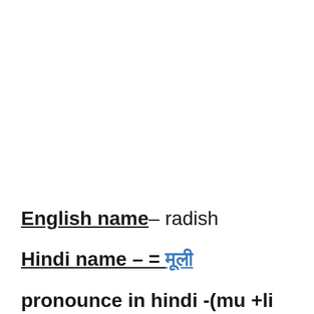English name– radish
Hindi name – = मूली
pronounce in hindi -(mu +li